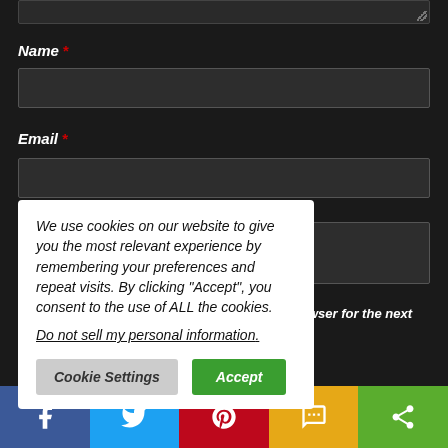[Figure (screenshot): Partial form with Name and Email fields on dark background, with cookie consent popup overlay and social share bar at bottom.]
Name *
Email *
We use cookies on our website to give you the most relevant experience by remembering your preferences and repeat visits. By clicking "Accept", you consent to the use of ALL the cookies.
Do not sell my personal information.
Cookie Settings
Accept
rowser for the next